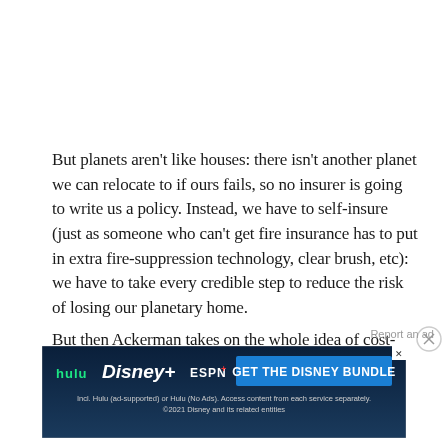But planets aren't like houses: there isn't another planet we can relocate to if ours fails, so no insurer is going to write us a policy. Instead, we have to self-insure (just as someone who can't get fire insurance has to put in extra fire-suppression technology, clear brush, etc): we have to take every credible step to reduce the risk of losing our planetary home.
But then Ackerman takes on the whole idea of cost-benefit when it comes to environmental risks: because
[Figure (other): Advertisement banner for Disney Bundle featuring Hulu, Disney+, and ESPN+ logos with blue background and CTA button 'GET THE DISNEY BUNDLE'. Fine print: Incl. Hulu (ad-supported) or Hulu (No Ads). Access content from each service separately. ©2021 Disney and its related entities]